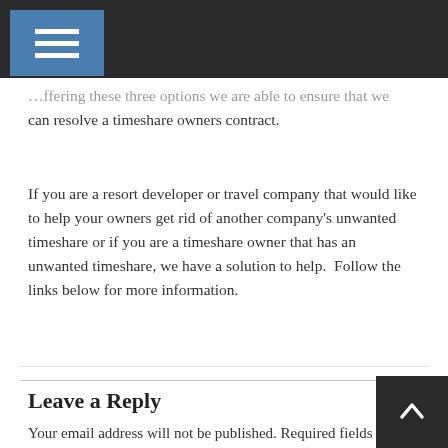…ffering these three options we are able to ensure that we can resolve a timeshare owners contract.
If you are a resort developer or travel company that would like to help your owners get rid of another company's unwanted timeshare or if you are a timeshare owner that has an unwanted timeshare, we have a solution to help. Follow the links below for more information.
Leave a Reply
Your email address will not be published. Required fields are marked *
Comment